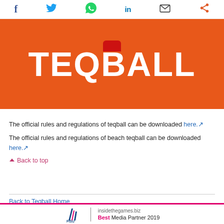[Figure (other): Social sharing bar with icons for Facebook, Twitter, WhatsApp, LinkedIn, Email, and Share]
[Figure (other): Orange banner with white bold text reading TEQBALL and a small red rectangle at top center]
The official rules and regulations of teqball can be downloaded here.
The official rules and regulations of beach teqball can be downloaded here.
Back to top
Back to Teqball Home
insidethegames.biz Best Media Partner 2019